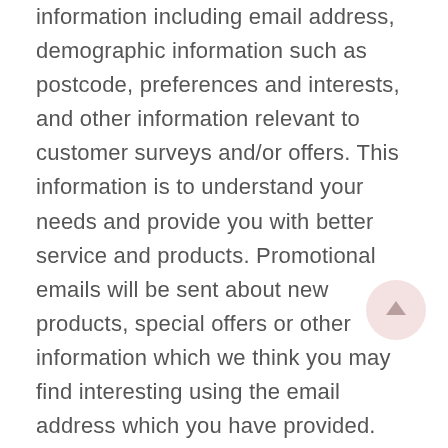information including email address, demographic information such as postcode, preferences and interests, and other information relevant to customer surveys and/or offers. This information is to understand your needs and provide you with better service and products. Promotional emails will be sent about new products, special offers or other information which we think you may find interesting using the email address which you have provided. Additionally, we may use your information provided to customize the website according to your interests.

We makes every effort to ensure that your